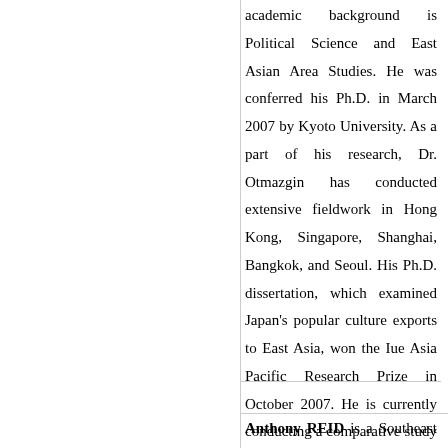academic background is Political Science and East Asian Area Studies. He was conferred his Ph.D. in March 2007 by Kyoto University. As a part of his research, Dr. Otmazgin has conducted extensive fieldwork in Hong Kong, Singapore, Shanghai, Bangkok, and Seoul. His Ph.D. dissertation, which examined Japan’s popular culture exports to East Asia, won the Iue Asia Pacific Research Prize in October 2007. He is currently conducting a comparative study on cultural industry and cultural policy in East Asia.
Anthony REID is a Southeast Asian